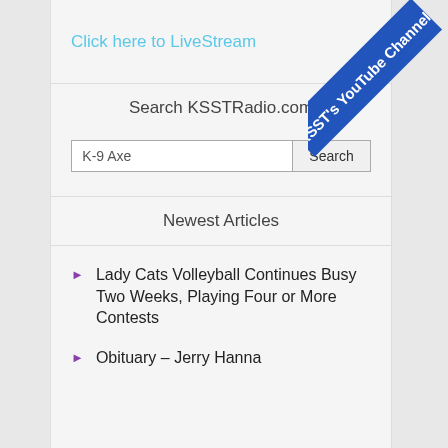Click here to LiveStream
Search KSSTRadio.com
K-9 Axe
Newest Articles
Lady Cats Volleyball Continues Busy Two Weeks, Playing Four or More Contests
Obituary – Jerry Hanna